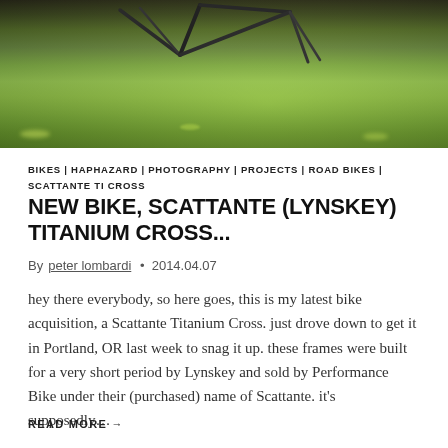[Figure (photo): Outdoor photo of bicycle frame/fork visible at top, set against a lush green grass lawn background, taken from a low angle]
BIKES | HAPHAZARD | PHOTOGRAPHY | PROJECTS | ROAD BIKES | SCATTANTE TI CROSS
NEW BIKE, SCATTANTE (LYNSKEY) TITANIUM CROSS...
By peter lombardi • 2014.04.07
hey there everybody, so here goes, this is my latest bike acquisition, a Scattante Titanium Cross. just drove down to get it in Portland, OR last week to snag it up. these frames were built for a very short period by Lynskey and sold by Performance Bike under their (purchased) name of Scattante. it's supposedly...
READ MORE →